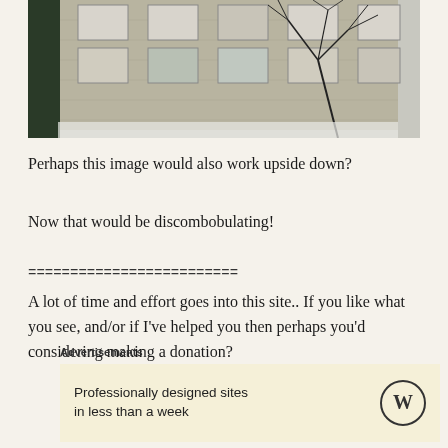[Figure (photo): Photograph of a multi-story apartment or office building with rows of windows, bare tree branches in the foreground, and snow visible at the base. Taken from a low angle showing the facade.]
Perhaps this image would also work upside down?
Now that would be discombobulating!
=========================
A lot of time and effort goes into this site.. If you like what you see, and/or if I've helped you then perhaps you'd considering making a donation?
Advertisements
Professionally designed sites in less than a week